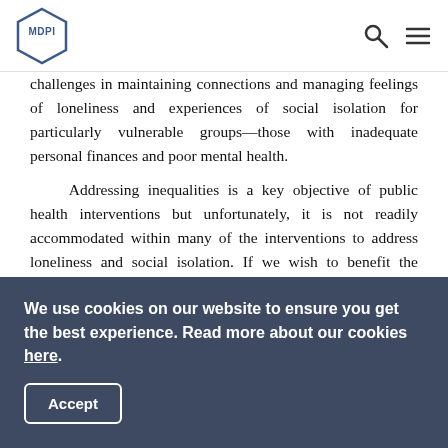MDPI
challenges in maintaining connections and managing feelings of loneliness and experiences of social isolation for particularly vulnerable groups—those with inadequate personal finances and poor mental health.
Addressing inequalities is a key objective of public health interventions but unfortunately, it is not readily accommodated within many of the interventions to address loneliness and social isolation. If we wish to benefit the greatest number of people, there is a need for a major rethink in policy and service provision. Greater emphasis is required on primary prevention and on population-based strategies to promote social health and recognize the impact of physical and mental well health, living conditions...
We use cookies on our website to ensure you get the best experience. Read more about our cookies here.
Accept